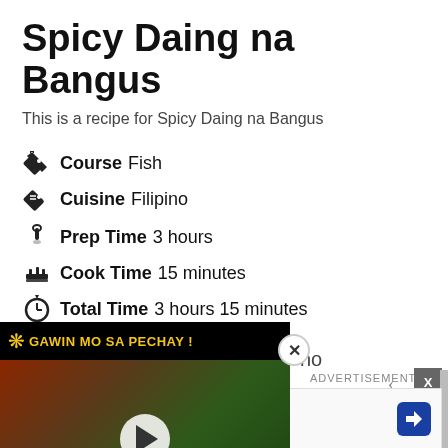Spicy Daing na Bangus
This is a recipe for Spicy Daing na Bangus
Course  Fish
Cuisine  Filipino
Prep Time  3 hours
Cook Time  15 minutes
Total Time  3 hours 15 minutes
[Figure (screenshot): Embedded video thumbnail showing food rolls with text GAWIN MO SA PECHAY! and a play button overlay]
[Figure (screenshot): Advertisement banner for Petco showing In-store shopping and Curbside pickup with navigation arrow icon]